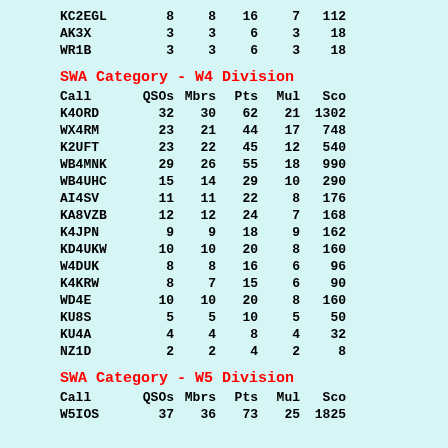| Call | QSOs | Mbrs | Pts | Mul | Sco |
| --- | --- | --- | --- | --- | --- |
| KC2EGL | 8 | 8 | 16 | 7 | 112 |
| AK3X | 3 | 3 | 6 | 3 | 18 |
| WR1B | 3 | 3 | 6 | 3 | 18 |
SWA Category - W4 Division
| Call | QSOs | Mbrs | Pts | Mul | Sco |
| --- | --- | --- | --- | --- | --- |
| K4ORD | 32 | 30 | 62 | 21 | 1302 |
| WX4RM | 23 | 21 | 44 | 17 | 748 |
| K2UFT | 23 | 22 | 45 | 12 | 540 |
| WB4MNK | 29 | 26 | 55 | 18 | 990 |
| WB4UHC | 15 | 14 | 29 | 10 | 290 |
| AI4SV | 11 | 11 | 22 | 8 | 176 |
| KA8VZB | 12 | 12 | 24 | 7 | 168 |
| K4JPN | 9 | 9 | 18 | 9 | 162 |
| KD4UKW | 10 | 10 | 20 | 8 | 160 |
| W4DUK | 8 | 8 | 16 | 6 | 96 |
| K4KRW | 8 | 7 | 15 | 6 | 90 |
| WD4E | 10 | 10 | 20 | 8 | 160 |
| KU8S | 5 | 5 | 10 | 5 | 50 |
| KU4A | 4 | 4 | 8 | 4 | 32 |
| NZ1D | 2 | 2 | 4 | 2 | 8 |
SWA Category - W5 Division
| Call | QSOs | Mbrs | Pts | Mul | Sco |
| --- | --- | --- | --- | --- | --- |
| W5IOS | 37 | 36 | 73 | 25 | 1825 |